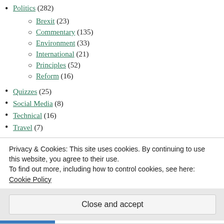Politics (282)
Brexit (23)
Commentary (135)
Environment (33)
International (21)
Principles (52)
Reform (16)
Quizzes (25)
Social Media (8)
Technical (16)
Travel (7)
Privacy & Cookies: This site uses cookies. By continuing to use this website, you agree to their use.
To find out more, including how to control cookies, see here: Cookie Policy
Close and accept